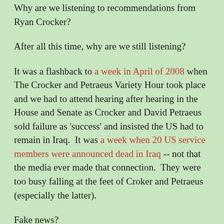Why are we listening to recommendations from Ryan Crocker?
After all this time, why are we still listening?
It was a flashback to a week in April of 2008 when The Crocker and Petraeus Variety Hour took place and we had to attend hearing after hearing in the House and Senate as Crocker and David Petraeus sold failure as 'success' and insisted the US had to remain in Iraq.  It was a week when 20 US service members were announced dead in Iraq -- not that the media ever made that connection.  They were too busy falling at the feet of Croker and Petraeus (especially the latter).
Fake news?
Oh, please, they've been peddling it for years, decades.
And they peddled it that week and repeatedly distorted